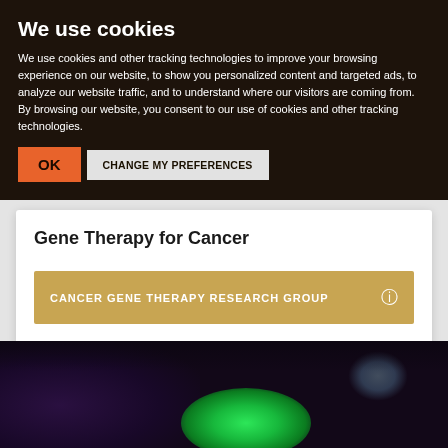We use cookies
We use cookies and other tracking technologies to improve your browsing experience on our website, to show you personalized content and targeted ads, to analyze our website traffic, and to understand where our visitors are coming from. By browsing our website, you consent to our use of cookies and other tracking technologies.
OK | CHANGE MY PREFERENCES
Gene Therapy for Cancer
CANCER GENE THERAPY RESEARCH GROUP
[Figure (photo): Dark blurred photo showing green and blue glowing light elements, likely a laboratory or technology setting]